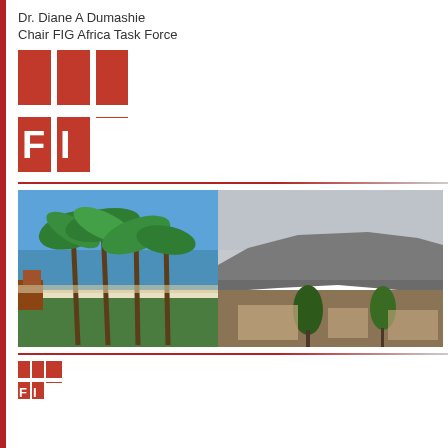Dr. Diane A Dumashie
Chair FIG Africa Task Force
[Figure (logo): FIG logo - red squares with letters F, I, G in white]
[Figure (photo): Left photo: tropical beach scene with palm trees leaning over ocean shoreline, blue sky]
[Figure (photo): Right photo: Table Mountain in Cape Town, South Africa, with city below and overcast sky]
[Figure (logo): FIG logo small at bottom strip]